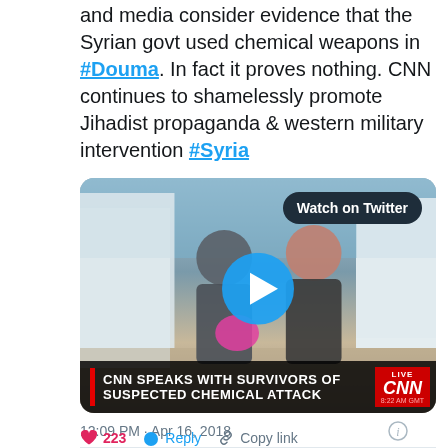and media consider evidence that the Syrian govt used chemical weapons in #Douma. In fact it proves nothing. CNN continues to shamelessly promote Jihadist propaganda & western military intervention #Syria
[Figure (screenshot): Video thumbnail showing two people at what appears to be a refugee camp with tents. A CNN live broadcast lower-third reads 'CNN SPEAKS WITH SURVIVORS OF SUSPECTED CHEMICAL ATTACK'. A 'Watch on Twitter' badge appears in the top right, and a blue play button is centered on the image.]
12:09 PM · Apr 16, 2018
♥ 223   Reply   Copy link